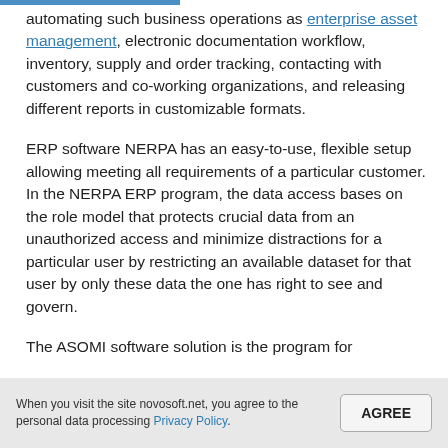automating such business operations as enterprise asset management, electronic documentation workflow, inventory, supply and order tracking, contacting with customers and co-working organizations, and releasing different reports in customizable formats.
ERP software NERPA has an easy-to-use, flexible setup allowing meeting all requirements of a particular customer. In the NERPA ERP program, the data access bases on the role model that protects crucial data from an unauthorized access and minimize distractions for a particular user by restricting an available dataset for that user by only these data the one has right to see and govern.
The ASOMI software solution is the program for
When you visit the site novosoft.net, you agree to the personal data processing Privacy Policy.